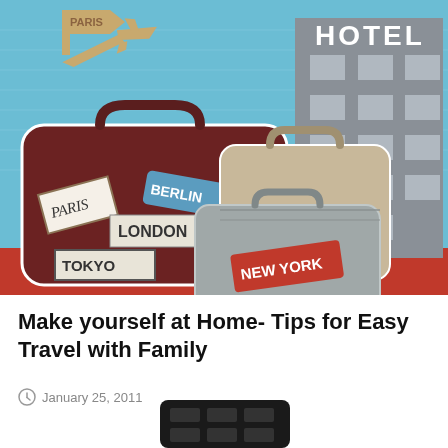[Figure (illustration): Colorful travel illustration showing stacked vintage suitcases/luggage with city name stickers (PARIS, BERLIN, LONDON, TOKYO, NEW YORK), a hotel building in the background, and an airplane in a blue sky.]
Make yourself at Home- Tips for Easy Travel with Family
January 25, 2011
[Figure (photo): Partial image of a dark-colored object (appears to be a TV remote or electronic device) visible at the bottom of the page.]